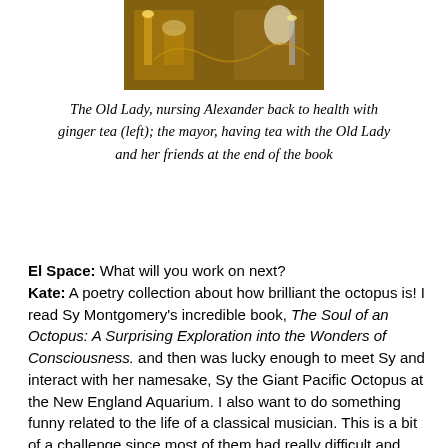[Figure (photo): An illustration or painting showing scenes from a book: the Old Lady nursing Alexander back to health with ginger tea (left), and the mayor having tea with the Old Lady and her friends at the end of the book.]
The Old Lady, nursing Alexander back to health with ginger tea (left); the mayor, having tea with the Old Lady and her friends at the end of the book
El Space: What will you work on next?
Kate: A poetry collection about how brilliant the octopus is! I read Sy Montgomery's incredible book, The Soul of an Octopus: A Surprising Exploration into the Wonders of Consciousness. and then was lucky enough to meet Sy and interact with her namesake, Sy the Giant Pacific Octopus at the New England Aquarium. I also want to do something funny related to the life of a classical musician. This is a bit of a challenge since most of them had really difficult and tragic lives. However, Jonah Winter was able